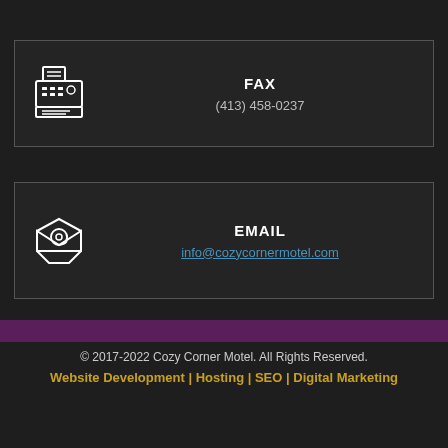FAX
(413) 458-0237
EMAIL
info@cozycornermotel.com
© 2017-2022 Cozy Corner Motel. All Rights Reserved.
Website Development | Hosting | SEO | Digital Marketing